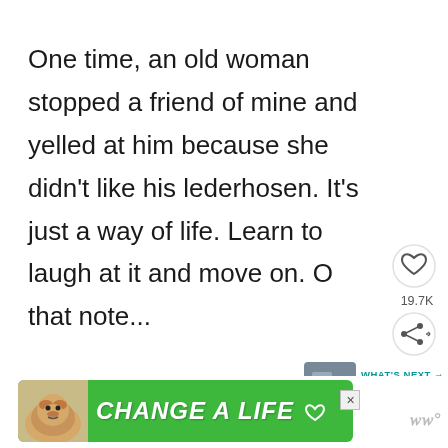One time, an old woman stopped a friend of mine and yelled at him because she didn't like his lederhosen. It's just a way of life. Learn to laugh at it and move on. On that note...
[Figure (screenshot): Like button (heart icon) with 19.7K count and share button]
[Figure (screenshot): What's Next card showing thumbnail of castle with text '31 Amazingly Unique Thin...']
[Figure (infographic): Green advertisement banner with dog photo and text 'CHANGE A LIFE' with heart icon and close button, plus WW logo to the right]